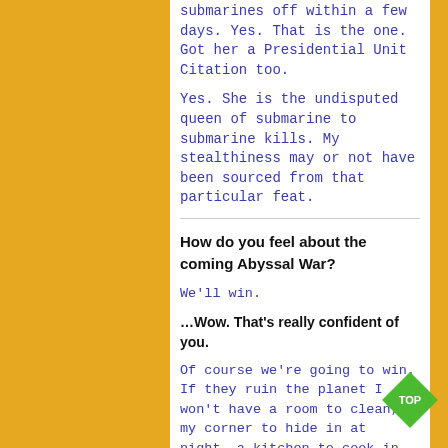submarines off within a few days. Yes. That is the one. Got her a Presidential Unit Citation too.
Yes. She is the undisputed queen of submarine to submarine kills. My stealthiness may or not have been sourced from that particular feat.
How do you feel about the coming Abyssal War?
We'll win.
...Wow. That's really confident of you.
Of course we're going to win. If they ruin the planet I won't have a room to clean, my corner to hide in at night, a kitchen to cook in, new video games to play, and ...
...